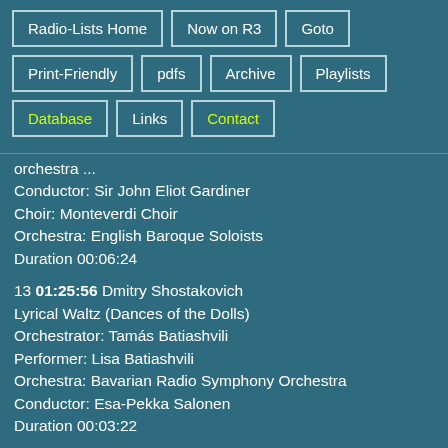Radio-Lists Home
Now on R3
Goto
Print-Friendly
pdfs
Archive
Playlists
Database
Links
Contact
orchestra ...
Conductor: Sir John Eliot Gardiner
Choir: Monteverdi Choir
Orchestra: English Baroque Soloists
Duration 00:06:24
13 01:25:56 Dmitry Shostakovich
Lyrical Waltz (Dances of the Dolls)
Orchestrator: Tamás Batiashvili
Performer: Lisa Batiashvili
Orchestra: Bavarian Radio Symphony Orchestra
Conductor: Esa-Pekka Salonen
Duration 00:03:22
14 01:33:38 George Frideric Handel
Lascia ch'io pianga (Rinaldo)